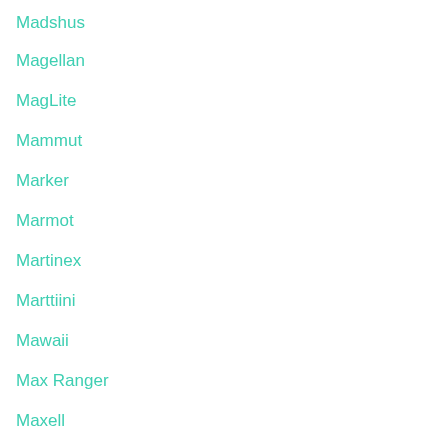Madshus
Magellan
MagLite
Mammut
Marker
Marmot
Martinex
Marttiini
Mawaii
Max Ranger
Maxell